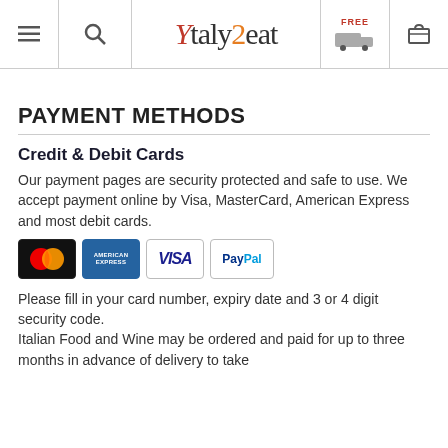Italy2eat navigation header with menu, search, logo, delivery, and cart icons
PAYMENT METHODS
Credit & Debit Cards
Our payment pages are security protected and safe to use. We accept payment online by Visa, MasterCard, American Express and most debit cards.
[Figure (logo): Payment card logos: MasterCard, American Express, Visa, PayPal]
Please fill in your card number, expiry date and 3 or 4 digit security code.
Italian Food and Wine may be ordered and paid for up to three months in advance of delivery to take